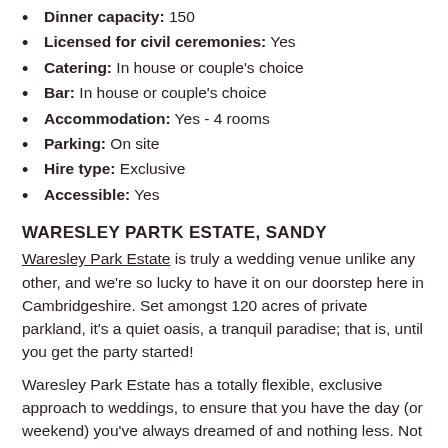Dinner capacity: 150
Licensed for civil ceremonies: Yes
Catering: In house or couple's choice
Bar: In house or couple's choice
Accommodation: Yes - 4 rooms
Parking: On site
Hire type: Exclusive
Accessible: Yes
WARESLEY PARTK ESTATE, SANDY
Waresley Park Estate is truly a wedding venue unlike any other, and we're so lucky to have it on our doorstep here in Cambridgeshire. Set amongst 120 acres of private parkland, it's a quiet oasis, a tranquil paradise; that is, until you get the party started!
Waresley Park Estate has a totally flexible, exclusive approach to weddings, to ensure that you have the day (or weekend) you've always dreamed of and nothing less. Not only are there multiple options for